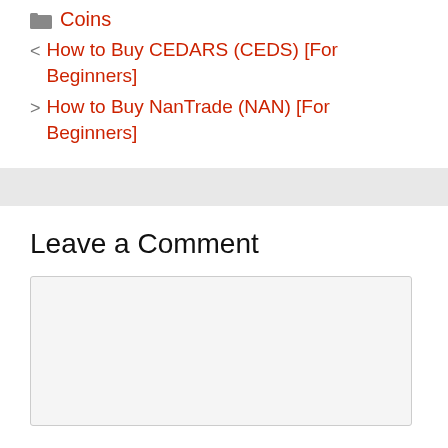Coins
< How to Buy CEDARS (CEDS) [For Beginners]
> How to Buy NanTrade (NAN) [For Beginners]
Leave a Comment
[Figure (other): Empty comment text area input box]